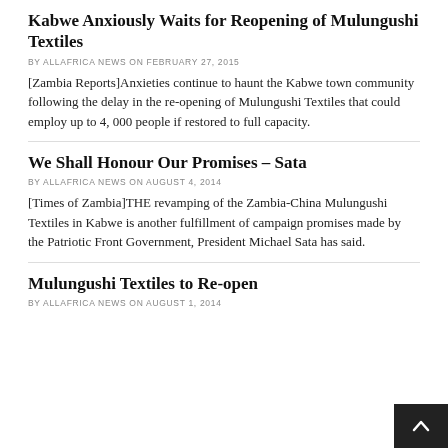Kabwe Anxiously Waits for Reopening of Mulungushi Textiles
BY ALLAFRICA NEWS ON FEBRUARY 27, 2015
[Zambia Reports]Anxieties continue to haunt the Kabwe town community following the delay in the re-opening of Mulungushi Textiles that could employ up to 4, 000 people if restored to full capacity.
We Shall Honour Our Promises – Sata
BY ALLAFRICA NEWS ON AUGUST 4, 2014
[Times of Zambia]THE revamping of the Zambia-China Mulungushi Textiles in Kabwe is another fulfillment of campaign promises made by the Patriotic Front Government, President Michael Sata has said.
Mulungushi Textiles to Re-open
BY ALLAFRICA NEWS ON AUGUST 1, 2014